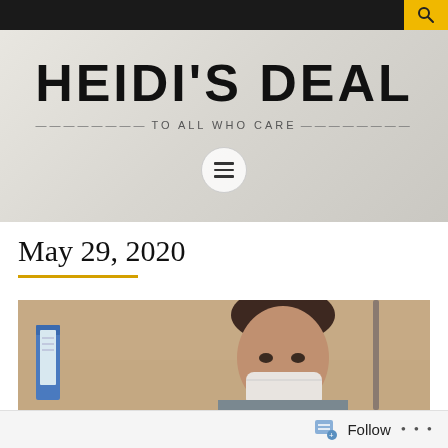HEIDI'S DEAL — TO ALL WHO CARE
HEIDI'S DEAL
TO ALL WHO CARE
May 29, 2020
[Figure (photo): Photo of a young woman wearing a face mask, holding a clipboard, in what appears to be a medical or office setting]
Follow